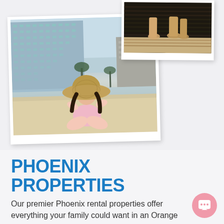[Figure (photo): Collage of two polaroid-style photos: main large photo shows a young girl in a big straw hat sitting on the beach in front of a tall beachfront condominium building; smaller photo in upper right shows feet standing on a striped wooden deck/pier]
PHOENIX PROPERTIES
Our premier Phoenix rental properties offer everything your family could want in an Orange